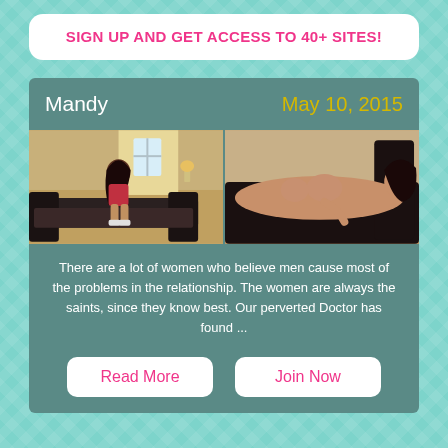SIGN UP AND GET ACCESS TO 40+ SITES!
Mandy   May 10, 2015
[Figure (photo): Two photos side by side: left shows a woman with long dark hair sitting on a black leather couch in a room with yellow walls; right shows the same or similar woman lying on a black surface.]
There are a lot of women who believe men cause most of the problems in the relationship. The women are always the saints, since they know best. Our perverted Doctor has found ...
Read More
Join Now